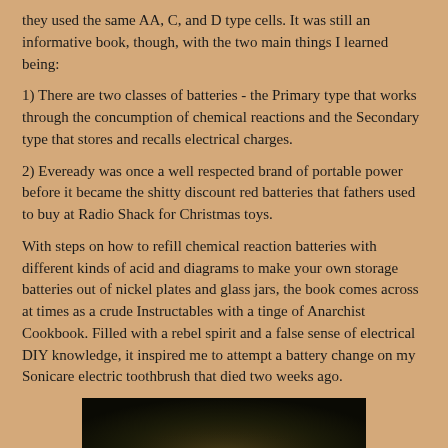they used the same AA, C, and D type cells. It was still an informative book, though, with the two main things I learned being:
1) There are two classes of batteries - the Primary type that works through the concumption of chemical reactions and the Secondary type that stores and recalls electrical charges.
2) Eveready was once a well respected brand of portable power before it became the shitty discount red batteries that fathers used to buy at Radio Shack for Christmas toys.
With steps on how to refill chemical reaction batteries with different kinds of acid and diagrams to make your own storage batteries out of nickel plates and glass jars, the book comes across at times as a crude Instructables with a tinge of Anarchist Cookbook. Filled with a rebel spirit and a false sense of electrical DIY knowledge, it inspired me to attempt a battery change on my Sonicare electric toothbrush that died two weeks ago.
[Figure (photo): Dark photograph showing what appears to be a disassembled electric toothbrush or electronic component on a surface, partially visible at the bottom of the page.]